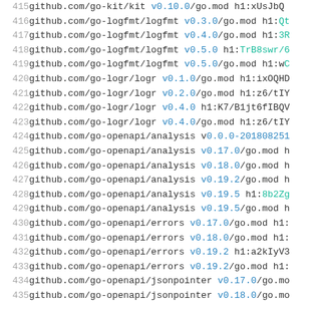| line | code |
| --- | --- |
| 415 | github.com/go-kit/kit v0.10.0/go.mod h1:xUsJbQ... |
| 416 | github.com/go-logfmt/logfmt v0.3.0/go.mod h1:Qt... |
| 417 | github.com/go-logfmt/logfmt v0.4.0/go.mod h1:3R... |
| 418 | github.com/go-logfmt/logfmt v0.5.0 h1:TrB8swr/6... |
| 419 | github.com/go-logfmt/logfmt v0.5.0/go.mod h1:wC... |
| 420 | github.com/go-logr/logr v0.1.0/go.mod h1:ixOQHD... |
| 421 | github.com/go-logr/logr v0.2.0/go.mod h1:z6/tIY... |
| 422 | github.com/go-logr/logr v0.4.0 h1:K7/B1jt6fIBQV... |
| 423 | github.com/go-logr/logr v0.4.0/go.mod h1:z6/tIY... |
| 424 | github.com/go-openapi/analysis v0.0.0-201808251... |
| 425 | github.com/go-openapi/analysis v0.17.0/go.mod h... |
| 426 | github.com/go-openapi/analysis v0.18.0/go.mod h... |
| 427 | github.com/go-openapi/analysis v0.19.2/go.mod h... |
| 428 | github.com/go-openapi/analysis v0.19.5 h1:8b2Zg... |
| 429 | github.com/go-openapi/analysis v0.19.5/go.mod h... |
| 430 | github.com/go-openapi/errors v0.17.0/go.mod h1:... |
| 431 | github.com/go-openapi/errors v0.18.0/go.mod h1:... |
| 432 | github.com/go-openapi/errors v0.19.2 h1:a2kIyV3... |
| 433 | github.com/go-openapi/errors v0.19.2/go.mod h1:... |
| 434 | github.com/go-openapi/jsonpointer v0.17.0/go.mo... |
| 435 | github.com/go-openapi/jsonpointer v0.18.0/go.mo... |